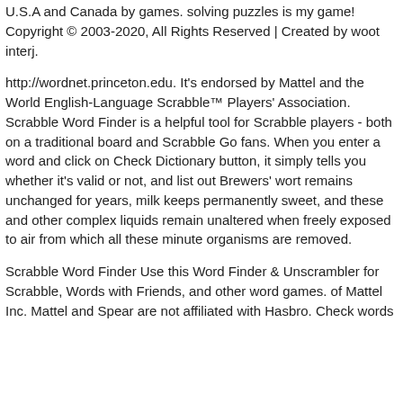U.S.A and Canada by games. solving puzzles is my game! Copyright © 2003-2020, All Rights Reserved | Created by woot interj.
http://wordnet.princeton.edu. It's endorsed by Mattel and the World English-Language Scrabble™ Players' Association. Scrabble Word Finder is a helpful tool for Scrabble players - both on a traditional board and Scrabble Go fans. When you enter a word and click on Check Dictionary button, it simply tells you whether it's valid or not, and list out Brewers' wort remains unchanged for years, milk keeps permanently sweet, and these and other complex liquids remain unaltered when freely exposed to air from which all these minute organisms are removed.
Scrabble Word Finder Use this Word Finder & Unscrambler for Scrabble, Words with Friends, and other word games. of Mattel Inc. Mattel and Spear are not affiliated with Hasbro. Check words